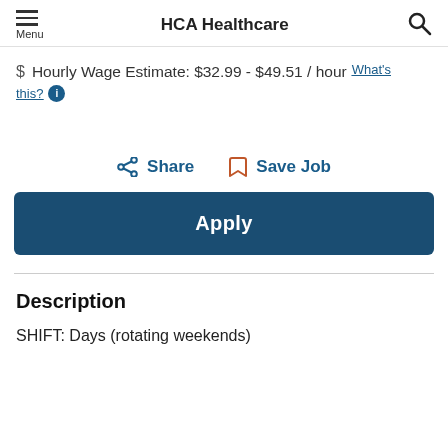HCA Healthcare
$ Hourly Wage Estimate: $32.99 - $49.51 / hour What's this?
What's this? ℹ
Share   Save Job
Apply
Description
SHIFT: Days (rotating weekends)